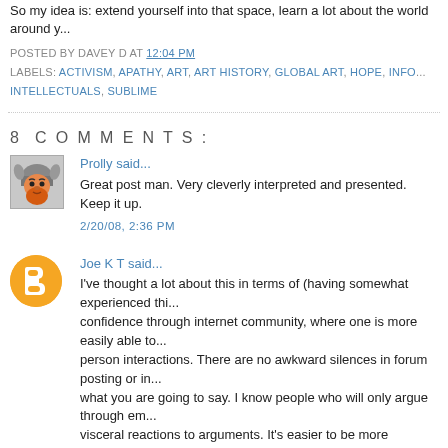So my idea is: extend yourself into that space, learn a lot about the world around y...
POSTED BY DAVEY D AT 12:04 PM
LABELS: ACTIVISM, APATHY, ART, ART HISTORY, GLOBAL ART, HOPE, INFO... INTELLECTUALS, SUBLIME
8 COMMENTS:
Prolly said...
Great post man. Very cleverly interpreted and presented. Keep it up.
2/20/08, 2:36 PM
Joe K T said...
I've thought a lot about this in terms of (having somewhat experienced thi... confidence through internet community, where one is more easily able to... person interactions. There are no awkward silences in forum posting or i... what you are going to say. I know people who will only argue through em... visceral reactions to arguments. It's easier to be more assertive and the wo...
2/20/08, 2:51 PM
lemmiwinks said...